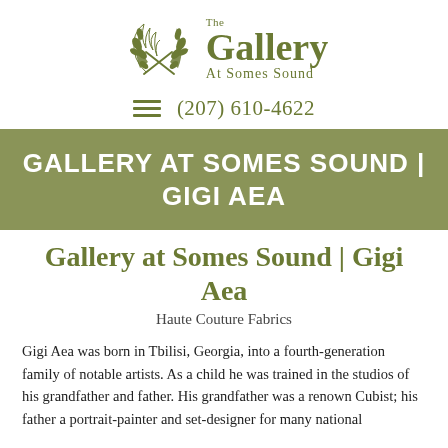[Figure (logo): The Gallery At Somes Sound logo with olive branch wreath and text]
(207) 610-4622
GALLERY AT SOMES SOUND | GIGI AEA
Gallery at Somes Sound | Gigi Aea
Haute Couture Fabrics
Gigi Aea was born in Tbilisi, Georgia, into a fourth-generation family of notable artists. As a child he was trained in the studios of his grandfather and father. His grandfather was a renown Cubist; his father a portrait-painter and set-designer for many national